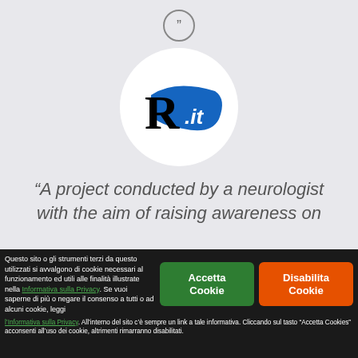[Figure (logo): R.it logo — large black letter R with a blue brushstroke containing white text '.it', displayed inside a white circle on a light grey background]
“A project conducted by a neurologist with the aim of raising awareness on
Questo sito o gli strumenti terzi da questo utilizzati si avvalgono di cookie necessari al funzionamento ed utili alle finalità illustrate nella Informativa sulla Privacy. Se vuoi saperne di più o negare il consenso a tutti o ad alcuni cookie, leggi l’Informativa sulla Privacy. All’interno del sito c’è sempre un link a tale informativa. Cliccando sul tasto “Accetta Cookies” acconsenti all’uso dei cookie, altrimenti rimarranno disabilitati.
Accetta Cookie
Disabilita Cookie